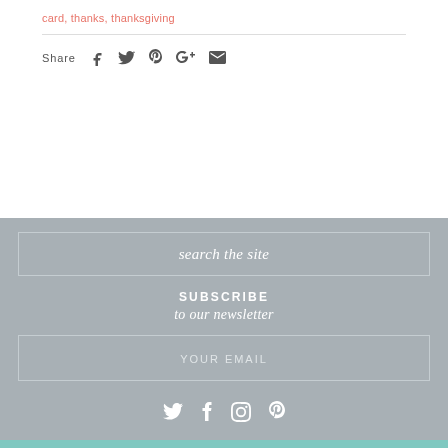card, thanks, thanksgiving
Share
search the site
SUBSCRIBE
to our newsletter
YOUR EMAIL
social icons: twitter, facebook, instagram, pinterest